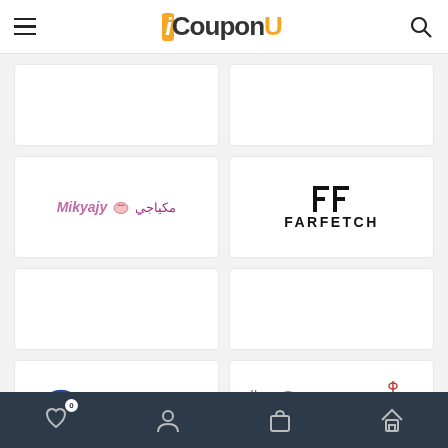iCouponU
[Figure (logo): Empty white card placeholder]
[Figure (logo): Empty white card placeholder]
[Figure (logo): Mikyajy makeup brand logo with Arabic text]
[Figure (logo): FARFETCH fashion brand logo]
[Figure (logo): Empty white card placeholder]
[Figure (logo): Empty white card placeholder]
[Figure (logo): Astrolabs logo with blue circular icon]
[Figure (logo): Alsaif Gallery logo with Arabic calligraphy in red]
Bottom navigation bar with wishlist (0), account, cart, and home icons